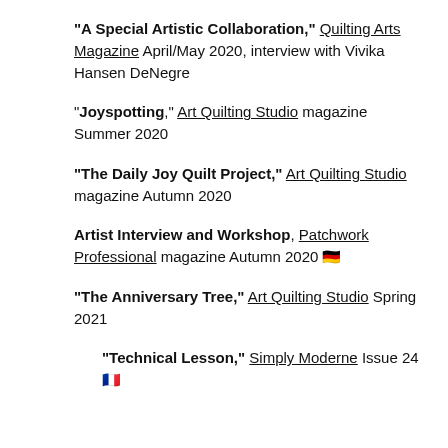"A Special Artistic Collaboration," Quilting Arts Magazine April/May 2020, interview with Vivika Hansen DeNegre
"Joyspotting," Art Quilting Studio magazine Summer 2020
"The Daily Joy Quilt Project," Art Quilting Studio magazine Autumn 2020
Artist Interview and Workshop, Patchwork Professional magazine Autumn 2020 🇩🇪
"The Anniversary Tree," Art Quilting Studio Spring 2021
"Technical Lesson," Simply Moderne Issue 24 🇫🇷